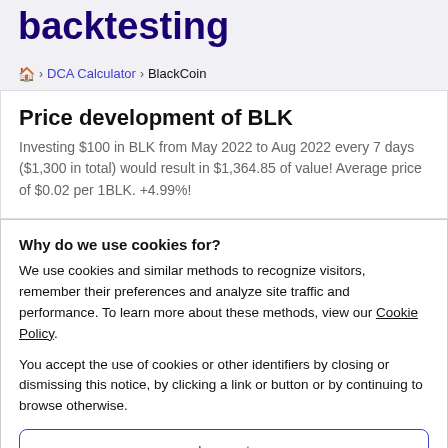backtesting
🏠 > DCA Calculator > BlackCoin
Price development of BLK
Investing $100 in BLK from May 2022 to Aug 2022 every 7 days ($1,300 in total) would result in $1,364.85 of value! Average price of $0.02 per 1BLK. +4.99%!
Why do we use cookies for?
We use cookies and similar methods to recognize visitors, remember their preferences and analyze site traffic and performance. To learn more about these methods, view our Cookie Policy.
You accept the use of cookies or other identifiers by closing or dismissing this notice, by clicking a link or button or by continuing to browse otherwise.
I accept